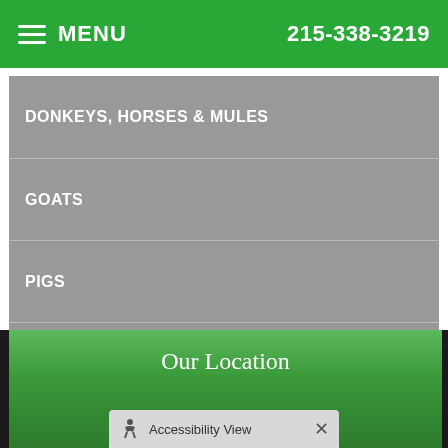MENU  215-338-3219
DONKEYS, HORSES & MULES
GOATS
PIGS
POULTRY
SHEEP
Our Location
Accessibility View